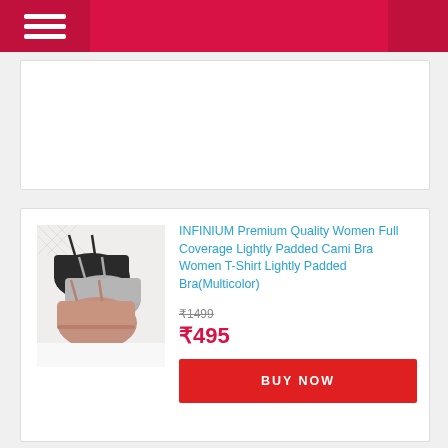☰ (hamburger menu navigation bar)
[Figure (photo): Product image of three cami bras in black, grey, and dusty pink/mauve colors on a white background]
INFINIUM Premium Quality Women Full Coverage Lightly Padded Cami Bra Women T-Shirt Lightly Padded Bra(Multicolor)
₹1499
₹495
BUY NOW